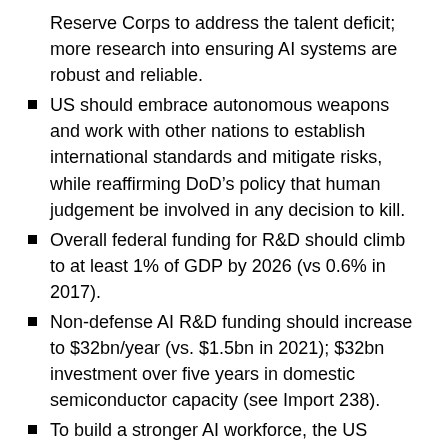Reserve Corps to address the talent deficit; more research into ensuring AI systems are robust and reliable.
US should embrace autonomous weapons and work with other nations to establish international standards and mitigate risks, while reaffirming DoD’s policy that human judgement be involved in any decision to kill.
Overall federal funding for R&D should climb to at least 1% of GDP by 2026 (vs 0.6% in 2017).
Non-defense AI R&D funding should increase to $32bn/year (vs. $1.5bn in 2021); $32bn investment over five years in domestic semiconductor capacity (see Import 238).
To build a stronger AI workforce, the US should offer green cards to all STEM PhD graduates at US universities and double the number of employment-